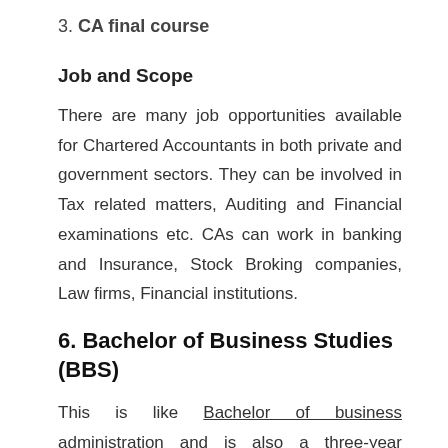3. CA final course
Job and Scope
There are many job opportunities available for Chartered Accountants in both private and government sectors. They can be involved in Tax related matters, Auditing and Financial examinations etc. CAs can work in banking and Insurance, Stock Broking companies, Law firms, Financial institutions.
6. Bachelor of Business Studies (BBS)
This is like Bachelor of business administration and is also a three-year course. Students generally study about marketing, Management, science